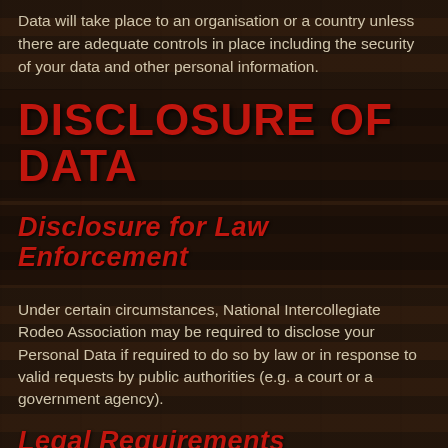Data will take place to an organisation or a country unless there are adequate controls in place including the security of your data and other personal information.
DISCLOSURE OF DATA
Disclosure for Law Enforcement
Under certain circumstances, National Intercollegiate Rodeo Association may be required to disclose your Personal Data if required to do so by law or in response to valid requests by public authorities (e.g. a court or a government agency).
Legal Requirements
National Intercollegiate Rodeo Association may